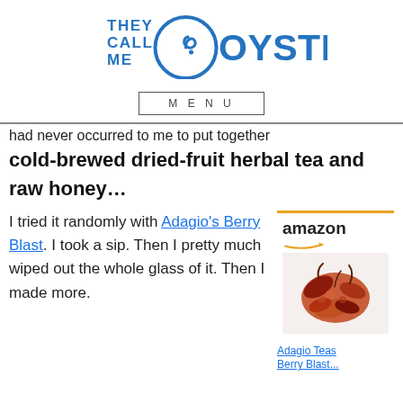[Figure (logo): They Call Me Oystergirl logo with stylized blue oyster shell and text]
MENU
had never occurred to me to put together
cold-brewed dried-fruit herbal tea and raw honey…
I tried it randomly with Adagio's Berry Blast. I took a sip. Then I pretty much wiped out the whole glass of it. Then I made more.
[Figure (photo): Amazon-sponsored product image of dried herbal tea leaves/berry blend]
Adagio Teas Berry Blast...